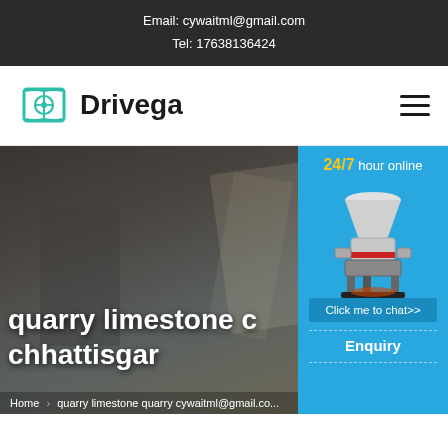Email: cywaitml@gmail.com
Tel: 17638136424
[Figure (logo): Drivega logo with open book and steering wheel icon in teal/green color, with 'Drivega' text beside it]
[Figure (photo): Website hero section with dark background showing a desk scene, overlaid with large white text reading 'quarry limestone chhattisgar...' and a right-side chat widget showing a cone crusher machine with '24/7 hour online' text, 'Click me to chat>>' button, and 'Enquiry' text]
quarry limestone c... chhattisgar...
Home > quarry limestone quarry cywaitml@gmail.com...